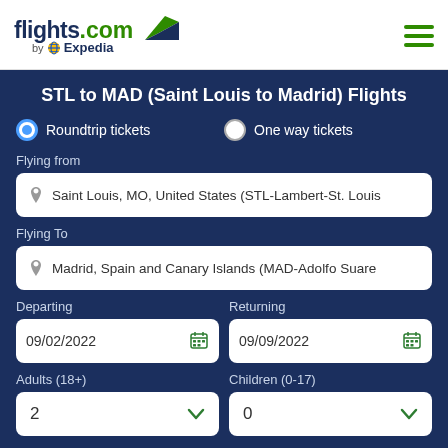[Figure (logo): flights.com by Expedia logo with green arrow/wing graphic]
STL to MAD (Saint Louis to Madrid) Flights
Roundtrip tickets (selected) | One way tickets
Flying from
Saint Louis, MO, United States (STL-Lambert-St. Louis
Flying To
Madrid, Spain and Canary Islands (MAD-Adolfo Suare
Departing: 09/02/2022 | Returning: 09/09/2022
Adults (18+): 2 | Children (0-17): 0